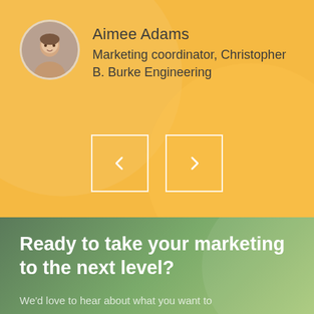Aimee Adams
Marketing coordinator, Christopher B. Burke Engineering
[Figure (infographic): Navigation buttons with left arrow and right arrow in white outlined squares on yellow/orange background]
Ready to take your marketing to the next level?
We'd love to hear about what you want to